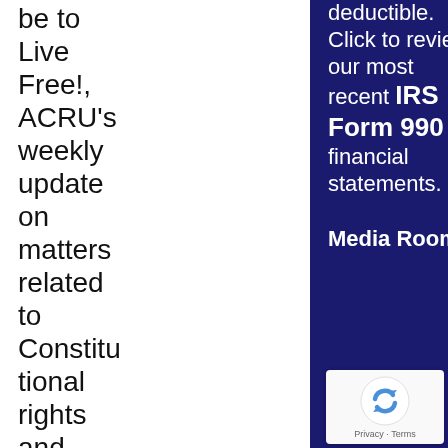be to Live Free!, ACRU's weekly update on matters related to Constitutional rights and liberty. A quick and easy read, that...
deductible. Click to review our most recent IRS Form 990 and financial statements.
Media Room
877-730-ACRU (2278)
[Figure (logo): reCAPTCHA logo with Privacy and Terms text]